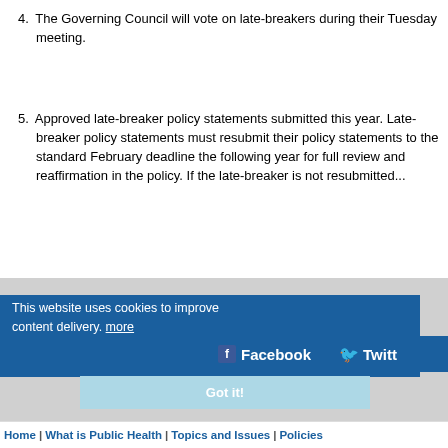4. The Governing Council will vote on late-breakers during their Tuesday mee...
5. Approved late-breaker policy state... year. Late-breaker policy statemen... their policy statements to the stan... February deadline the following ye... full review and reaffirmation in the... the late-breaker is not resubmitte...
This website uses cookies to improve content delivery. more
Facebook
Twitt...
Got it!
Home | What is Public Health | Topics and Issues | Policies